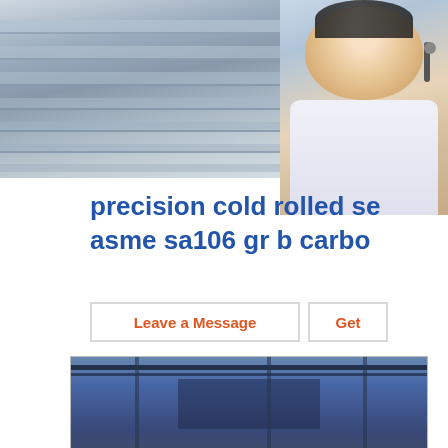[Figure (photo): Steel plates/sheets stacked in a warehouse/industrial setting, gray metallic surfaces]
[Figure (photo): Customer service representative, woman wearing headset smiling]
precision cold rolled se... asme sa106 gr b carbo...
Leave a Message
Get...
[Figure (screenshot): Right side panel with service icons: Steel (factory icon), Deep Processing (book icon), Logistics answering (bulb icon), After Service (printer icon). Blue icon buttons for headset/customer service, phone/call, Skype. Online Consultation red bar at bottom.]
[Figure (photo): Industrial steel factory interior with cranes, steel plates stacked on floor]